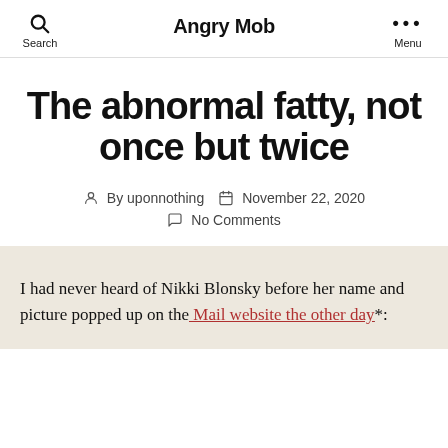Angry Mob
The abnormal fatty, not once but twice
By uponnothing   November 22, 2020   No Comments
I had never heard of Nikki Blonsky before her name and picture popped up on the Mail website the other day*: